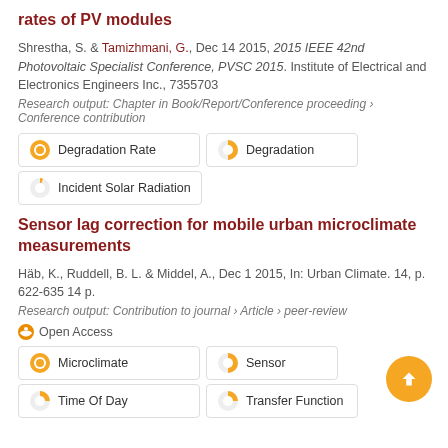rates of PV modules
Shrestha, S. & Tamizhmani, G., Dec 14 2015, 2015 IEEE 42nd Photovoltaic Specialist Conference, PVSC 2015. Institute of Electrical and Electronics Engineers Inc., 7355703
Research output: Chapter in Book/Report/Conference proceeding › Conference contribution
Degradation Rate | Degradation | Incident Solar Radiation
Sensor lag correction for mobile urban microclimate measurements
Häb, K., Ruddell, B. L. & Middel, A., Dec 1 2015, In: Urban Climate. 14, p. 622-635 14 p.
Research output: Contribution to journal › Article › peer-review
Open Access
Microclimate | Sensor | Time Of Day | Transfer Function